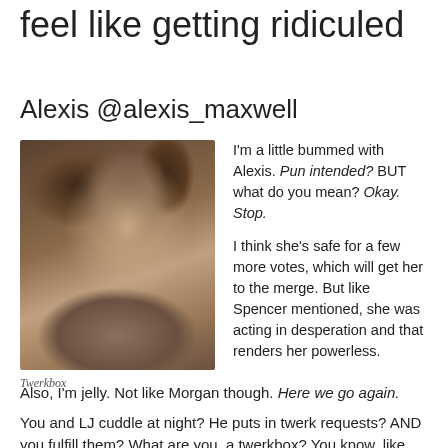feel like getting ridiculed
Alexis @alexis_maxwell
[Figure (photo): Portrait photo of a woman with curly dark hair, smiling, outdoors background]
Twerkbox
I'm a little bummed with Alexis. Pun intended? BUT what do you mean? Okay. Stop.

I think she's safe for a few more votes, which will get her to the merge. But like Spencer mentioned, she was acting in desperation and that renders her powerless.
Also, I'm jelly. Not like Morgan though. Here we go again.
You and LJ cuddle at night? He puts in twerk requests? AND you fulfill them? What are you, a twerkbox? You know, like